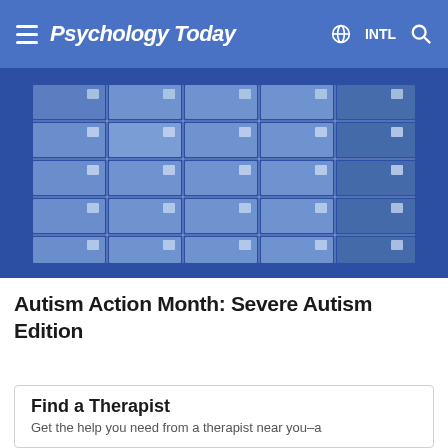Psychology Today  INTL
[Figure (illustration): A calendar/table grid with blue and dark blue colored cells arranged in rows and columns, on a blue background, representing a monthly calendar layout.]
Autism Action Month: Severe Autism Edition
Find a Therapist
Get the help you need from a therapist near you–a